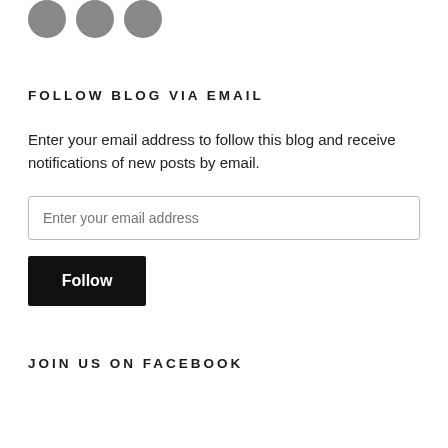[Figure (illustration): Three circular social media icon buttons (Facebook, Twitter, Instagram) in dark gray, partially cropped at top]
FOLLOW BLOG VIA EMAIL
Enter your email address to follow this blog and receive notifications of new posts by email.
[Figure (other): Email address input text field with placeholder text 'Enter your email address']
[Figure (other): Black 'Follow' button]
JOIN US ON FACEBOOK